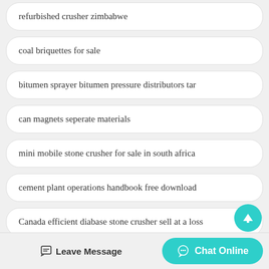refurbished crusher zimbabwe
coal briquettes for sale
bitumen sprayer bitumen pressure distributors tar
can magnets seperate materials
mini mobile stone crusher for sale in south africa
cement plant operations handbook free download
Canada efficient diabase stone crusher sell at a loss
Leave Message   Chat Online